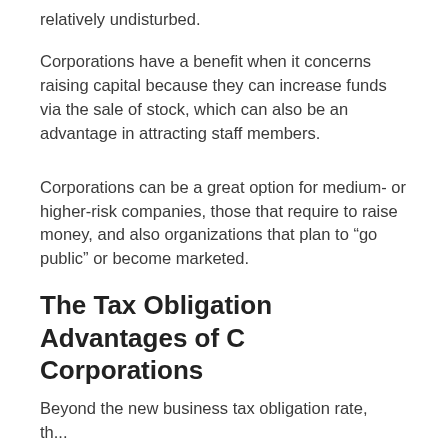relatively undisturbed.
Corporations have a benefit when it concerns raising capital because they can increase funds via the sale of stock, which can also be an advantage in attracting staff members.
Corporations can be a great option for medium- or higher-risk companies, those that require to raise money, and also organizations that plan to “go public” or become marketed.
The Tax Obligation Advantages of C Corporations
Beyond the new business tax obligation rate, the...